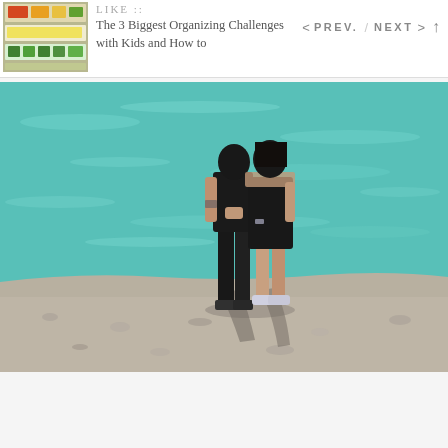[Figure (photo): Thumbnail image of organized refrigerator drawers with colorful vegetables]
LIKE ::
The 3 Biggest Organizing Challenges with Kids and How to
< PREV. / NEXT > ↑
[Figure (photo): Two people dressed in black standing on a concrete ledge by turquoise water, embracing. The woman wears silver sneakers.]